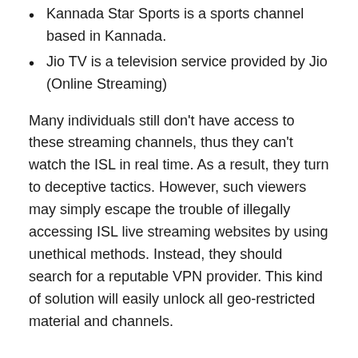Kannada Star Sports is a sports channel based in Kannada.
Jio TV is a television service provided by Jio (Online Streaming)
Many individuals still don't have access to these streaming channels, thus they can't watch the ISL in real time. As a result, they turn to deceptive tactics. However, such viewers may simply escape the trouble of illegally accessing ISL live streaming websites by using unethical methods. Instead, they should search for a reputable VPN provider. This kind of solution will easily unlock all geo-restricted material and channels.